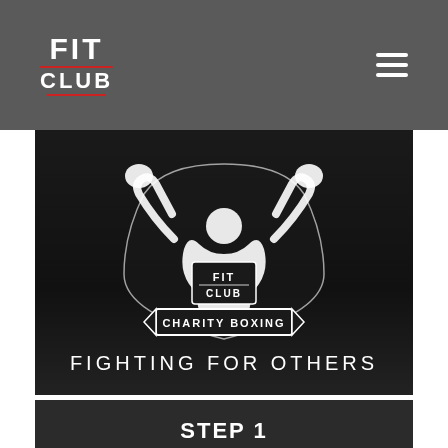FIT CLUB
[Figure (logo): FIT CLUB Charity Boxing logo — white silhouette of boxer with arms raised, holding boxing gloves, with a shield badge reading FIT CLUB and a banner reading CHARITY BOXING]
FIGHTING FOR OTHERS
STEP 1 REGISTRATION
Register to fight in our next event by clicking REGISTER below, pay your £60 deposit and enter